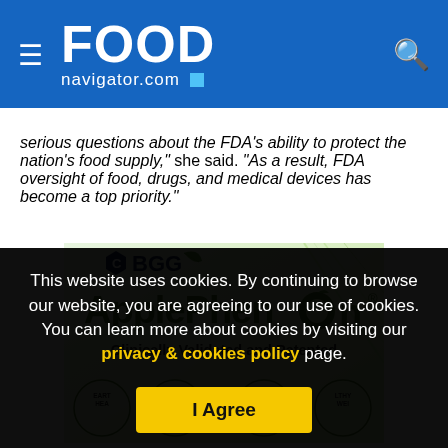FOOD navigator.com
serious questions about the FDA's ability to protect the nation's food supply," she said. "As a result, FDA oversight of food, drugs, and medical devices has become a top priority."
[Figure (illustration): BGG ApplePhenon advertisement - Clinically Validated and Patented, showing apple and leaf imagery with circular badges for Heart Health, Dental Care, Skin Health, Healthy Weight]
This website uses cookies. By continuing to browse our website, you are agreeing to our use of cookies. You can learn more about cookies by visiting our privacy & cookies policy page.
I Agree